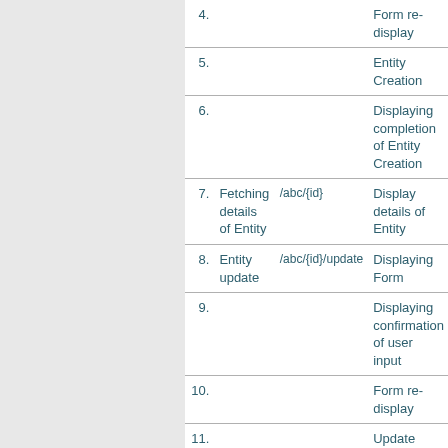| # | Action | URL | Result |
| --- | --- | --- | --- |
| 4. |  |  | Form re-display |
| 5. |  |  | Entity Creation |
| 6. |  |  | Displaying completion of Entity Creation |
| 7. | Fetching details of Entity | /abc/{id} | Display details of Entity |
| 8. | Entity update | /abc/{id}/update | Displaying Form |
| 9. |  |  | Displaying confirmation of user input |
| 10. |  |  | Form re-display |
| 11. |  |  | Update |